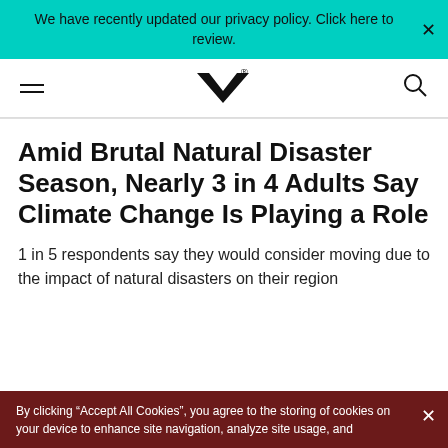We have recently updated our privacy policy. Click here to review.
MV logo navigation bar
Amid Brutal Natural Disaster Season, Nearly 3 in 4 Adults Say Climate Change Is Playing a Role
1 in 5 respondents say they would consider moving due to the impact of natural disasters on their region
By clicking “Accept All Cookies”, you agree to the storing of cookies on your device to enhance site navigation, analyze site usage, and